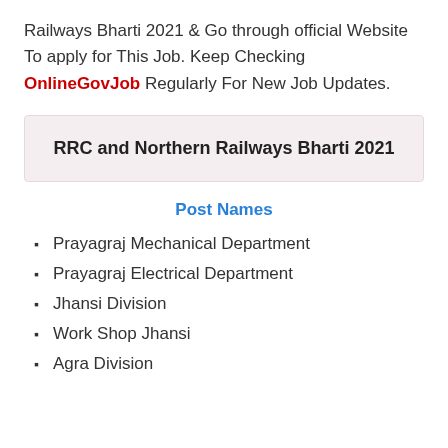Railways Bharti 2021 & Go through official Website To apply for This Job. Keep Checking OnlineGovJob Regularly For New Job Updates.
RRC and Northern Railways Bharti 2021
Post Names
Prayagraj Mechanical Department
Prayagraj Electrical Department
Jhansi Division
Work Shop Jhansi
Agra Division